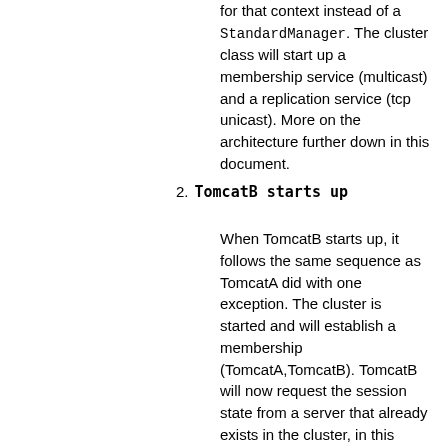for that context instead of a StandardManager. The cluster class will start up a membership service (multicast) and a replication service (tcp unicast). More on the architecture further down in this document.
2. TomcatB starts up
When TomcatB starts up, it follows the same sequence as TomcatA did with one exception. The cluster is started and will establish a membership (TomcatA,TomcatB). TomcatB will now request the session state from a server that already exists in the cluster, in this case